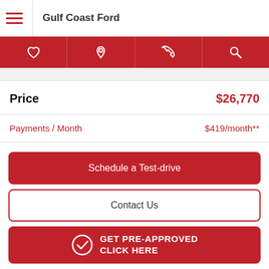Gulf Coast Ford
Price   $26,770
Payments / Month   $419/month**
Schedule a Test-drive
Contact Us
GET PRE-APPROVED CLICK HERE